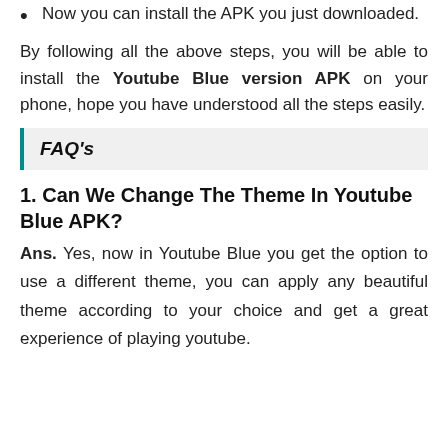Now you can install the APK you just downloaded.
By following all the above steps, you will be able to install the Youtube Blue version APK on your phone, hope you have understood all the steps easily.
FAQ's
1. Can We Change The Theme In Youtube Blue APK?
Ans. Yes, now in Youtube Blue you get the option to use a different theme, you can apply any beautiful theme according to your choice and get a great experience of playing youtube.